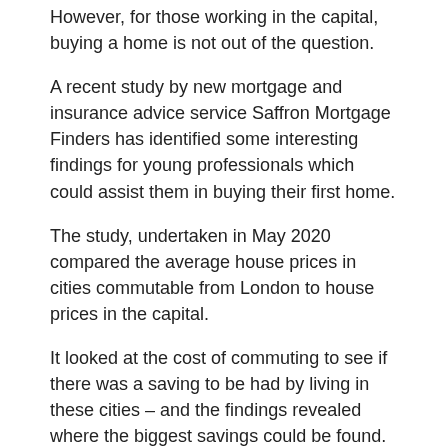However, for those working in the capital, buying a home is not out of the question.
A recent study by new mortgage and insurance advice service Saffron Mortgage Finders has identified some interesting findings for young professionals which could assist them in buying their first home.
The study, undertaken in May 2020 compared the average house prices in cities commutable from London to house prices in the capital.
It looked at the cost of commuting to see if there was a saving to be had by living in these cities – and the findings revealed where the biggest savings could be found.
[Figure (photo): Broken image placeholder with alt text: House prices: House for Sale]
House prices: Cutting Stamp Duty could adversely affect first time buyers (Image: GETTY)